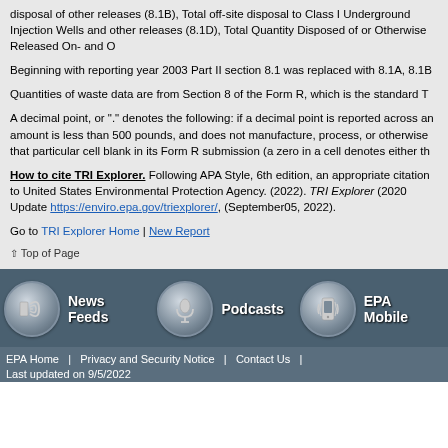disposal of other releases (8.1B), Total off-site disposal to Class I Underground Injection Wells and other releases (8.1D), Total Quantity Disposed of or Otherwise Released On- and O
Beginning with reporting year 2003 Part II section 8.1 was replaced with 8.1A, 8.1B
Quantities of waste data are from Section 8 of the Form R, which is the standard T
A decimal point, or "." denotes the following: if a decimal point is reported across an amount is less than 500 pounds, and does not manufacture, process, or otherwise that particular cell blank in its Form R submission (a zero in a cell denotes either th
How to cite TRI Explorer. Following APA Style, 6th edition, an appropriate citation to United States Environmental Protection Agency. (2022). TRI Explorer (2020 Update https://enviro.epa.gov/triexplorer/, (September05, 2022).
Go to TRI Explorer Home | New Report
Top of Page
[Figure (infographic): EPA footer with three icon buttons: News Feeds (RSS icon), Podcasts (microphone icon), EPA Mobile (mobile phone icon), all on dark slate blue background]
EPA Home | Privacy and Security Notice | Contact Us | Last updated on 9/5/2022